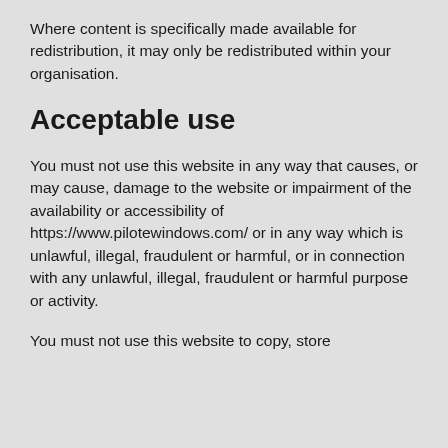Where content is specifically made available for redistribution, it may only be redistributed within your organisation.
Acceptable use
You must not use this website in any way that causes, or may cause, damage to the website or impairment of the availability or accessibility of https://www.pilotewindows.com/ or in any way which is unlawful, illegal, fraudulent or harmful, or in connection with any unlawful, illegal, fraudulent or harmful purpose or activity.
You must not use this website to copy, store